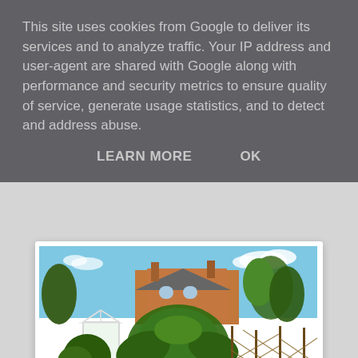This site uses cookies from Google to deliver its services and to analyze traffic. Your IP address and user-agent are shared with Google along with performance and security metrics to ensure quality of service, generate usage statistics, and to detect and address abuse.
LEARN MORE    OK
[Figure (photo): A garden photo showing a greenhouse on the left, lush green tropical plants including what appears to be a Gunnera in the center, a path of mulch/soil running through the middle, wooden trellis fencing on the right, and a red brick house with chimneys in the background under a blue sky.]
Before you think it, yes, I know that this Gunnera is in totally the wrong place, but it would be impossible to move/ threaten/ kill now. There used to be a rather nice pond there at one time, until we got Gus, the Aquatic dog, who flung